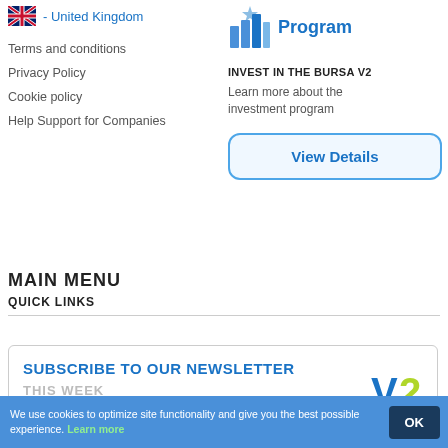- United Kingdom
[Figure (logo): Bar chart icon representing investment program with blue bars and a medal/star at top]
Program
Terms and conditions
Privacy Policy
Cookie policy
Help Support for Companies
INVEST IN THE BURSA V2
Learn more about the investment program
View Details
MAIN MENU
QUICK LINKS
SUBSCRIBE TO OUR NEWSLETTER
THIS WEEK
[Figure (logo): V2 logo in blue and yellow-green]
We use cookies to optimize site functionality and give you the best possible experience. Learn more